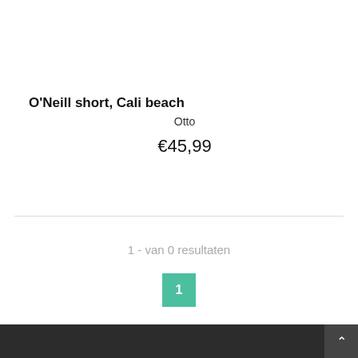O'Neill short, Cali beach
Otto
€45,99
1 - van 0 resultaten
1
^